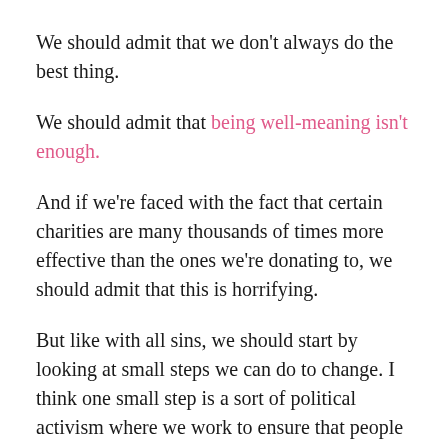We should admit that we don't always do the best thing.
We should admit that being well-meaning isn't enough.
And if we're faced with the fact that certain charities are many thousands of times more effective than the ones we're donating to, we should admit that this is horrifying.
But like with all sins, we should start by looking at small steps we can do to change. I think one small step is a sort of political activism where we work to ensure that people everywhere are seen as people, no matter what.
But as far as money goes, one of the easiest small steps is Effective Altruism. It reminds me of the actions of the early Christian church in chapter 6 of Acts: